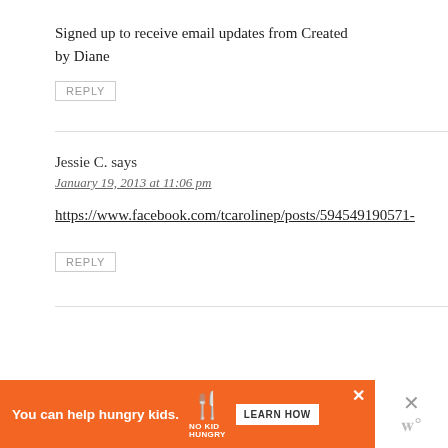Signed up to receive email updates from Created by Diane
REPLY
Jessie C. says
January 19, 2013 at 11:06 pm
https://www.facebook.com/tcarolinep/posts/594549190571-
REPLY
[Figure (infographic): Orange advertisement banner: 'You can help hungry kids.' with No Kid Hungry fork logo and LEARN HOW button, with close X buttons on right side]